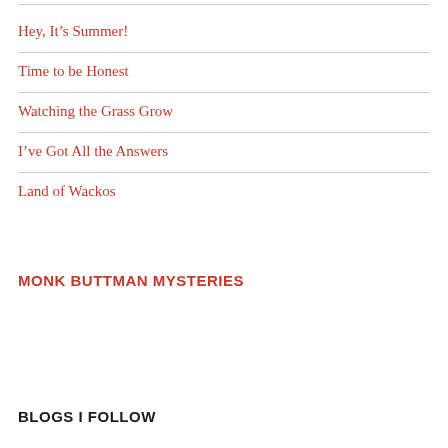Hey, It's Summer!
Time to be Honest
Watching the Grass Grow
I've Got All the Answers
Land of Wackos
MONK BUTTMAN MYSTERIES
BLOGS I FOLLOW